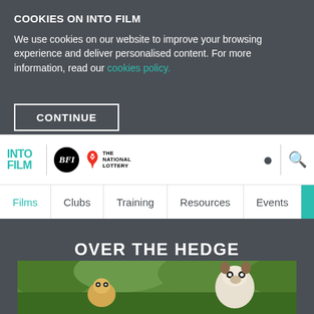COOKIES ON INTO FILM
We use cookies on our website to improve your browsing experience and deliver personalised content. For more information, read our cookies policy.
CONTINUE
[Figure (logo): Into Film logo with teal text, BFI circular logo, and The National Lottery logo]
Films | Clubs | Training | Resources | Events | ≡ All
OVER THE HEDGE
[Figure (photo): Scene from the animated film Over the Hedge showing animal characters in a green outdoor setting]